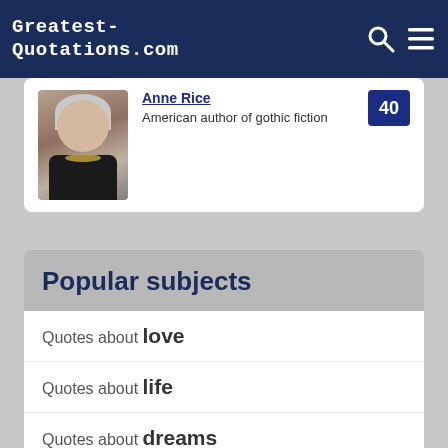Greatest-Quotations.com
Anne Rice
American author of gothic fiction
Popular subjects
Quotes about love
Quotes about life
Quotes about dreams
Quotes about money
Quotes about human